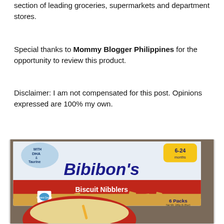section of leading groceries, supermarkets and department stores.
Special thanks to Mommy Blogger Philippines for the opportunity to review this product.
Disclaimer: I am not compensated for this post. Opinions expressed are 100% my own.
[Figure (photo): Photo of Bibibon's Biscuit Nibblers box (6-24 months, with DHA & Taurine, 6 Packs) with a red bowl of dissolved biscuit in foreground]